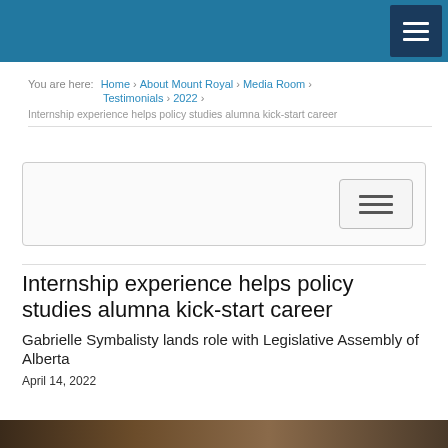Mount Royal University navigation bar
You are here: Home > About Mount Royal > Media Room > Testimonials > 2022 > Internship experience helps policy studies alumna kick-start career
[Figure (screenshot): Secondary navigation toggle bar with hamburger menu button]
Internship experience helps policy studies alumna kick-start career
Gabrielle Symbalisty lands role with Legislative Assembly of Alberta
April 14, 2022